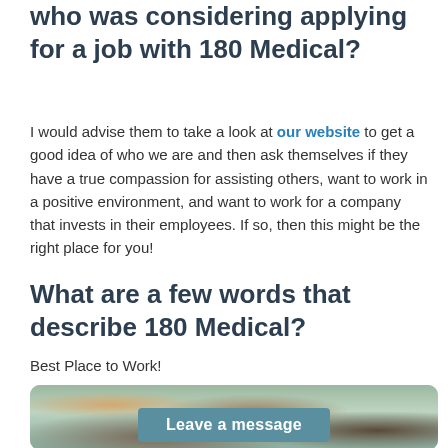who was considering applying for a job with 180 Medical?
I would advise them to take a look at our website to get a good idea of who we are and then ask themselves if they have a true compassion for assisting others, want to work in a positive environment, and want to work for a company that invests in their employees. If so, then this might be the right place for you!
What are a few words that describe 180 Medical?
Best Place to Work!
[Figure (photo): Group photo of 180 Medical employees smiling, with holiday decorations, with a 'Leave a message' button overlay]